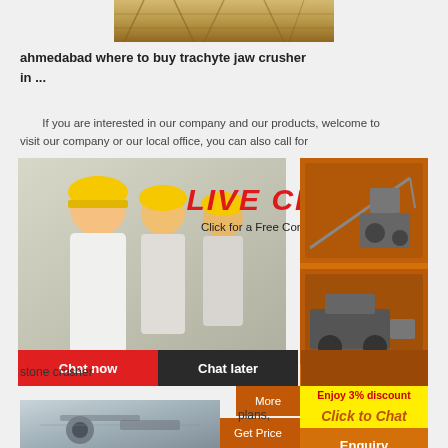[Figure (photo): Aerial or construction site photo showing industrial equipment/scaffolding structures]
ahmedabad where to buy trachyte jaw crusher
in ...
If you are interested in our company and our products, welcome to visit our company or our local office, you can also call for
[Figure (infographic): Live chat popup overlay with workers in hard hats, LIVE CHAT header in red italic, 'Click for a Free Consultation' text, Chat now (red) and Chat later (dark) buttons, More / Get Price / Email contact options, orange right panel with machinery images, Enjoy 3% discount / Click to Chat yellow banner, Enquiry button, mumumugoods@gmail.com contact]
stone crusher
plans,
[Figure (photo): Bottom photo showing mechanical/industrial equipment parts]